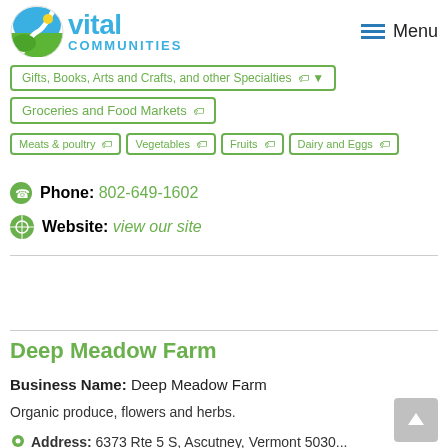[Figure (logo): Vital Communities logo with circular icon showing green hills, blue sky and yellow sun, and text 'vital COMMUNITIES' in blue]
Gifts, Books, Arts and Crafts, and other Specialties
Groceries and Food Markets
Meats & poultry
Vegetables
Fruits
Dairy and Eggs
Phone: 802-649-1602
Website: view our site
Deep Meadow Farm
Business Name: Deep Meadow Farm
Organic produce, flowers and herbs.
Address: 6373 Rte 5 S, Ascutney, Vermont 5030...